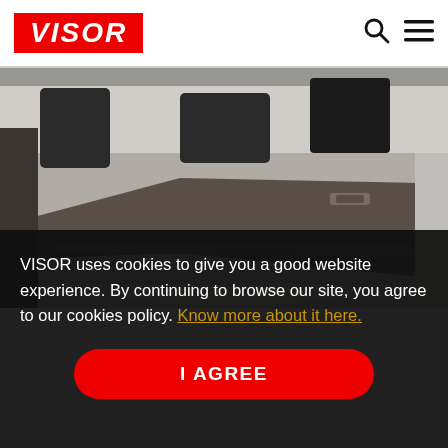[Figure (logo): VISOR logo in white bold italic text on red background]
[Figure (photo): Interior of a vehicle showing a dark grey cargo floor mat/liner with the side door open, revealing the passenger cabin with seats in the background]
VISOR uses cookies to give you a good website experience. By continuing to browse our site, you agree to our cookies policy. Know more about it here.
I AGREE